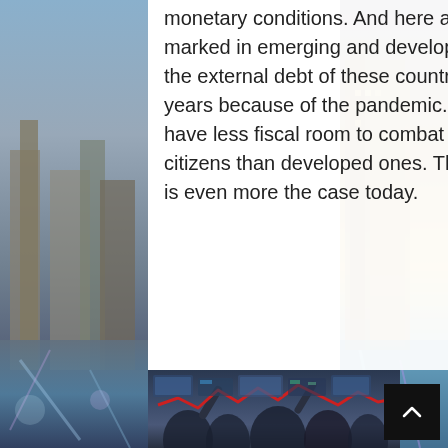monetary conditions. And here again, this movement is even more marked in emerging and developing countries. This is a context where the external debt of these countries had again increased in recent years because of the pandemic. Emerging and developing countries have less fiscal room to combat crises and cushion the impact on their citizens than developed ones. This was already the case before, but it is even more the case today.
[Figure (photo): Stock exchange trading floor scene with traders, multiple screens showing financial data, and a red jagged line chart overlay suggesting market volatility.]